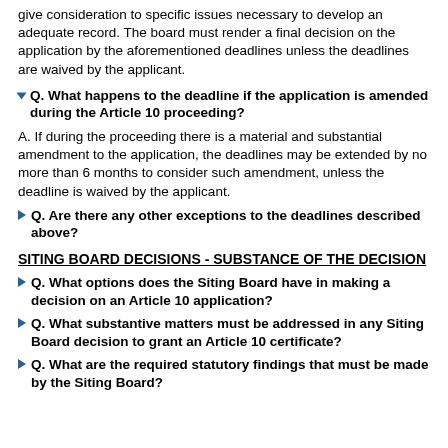give consideration to specific issues necessary to develop an adequate record. The board must render a final decision on the application by the aforementioned deadlines unless the deadlines are waived by the applicant.
Q. What happens to the deadline if the application is amended during the Article 10 proceeding?
A. If during the proceeding there is a material and substantial amendment to the application, the deadlines may be extended by no more than 6 months to consider such amendment, unless the deadline is waived by the applicant.
Q. Are there any other exceptions to the deadlines described above?
SITING BOARD DECISIONS - SUBSTANCE OF THE DECISION
Q. What options does the Siting Board have in making a decision on an Article 10 application?
Q. What substantive matters must be addressed in any Siting Board decision to grant an Article 10 certificate?
Q. What are the required statutory findings that must be made by the Siting Board?